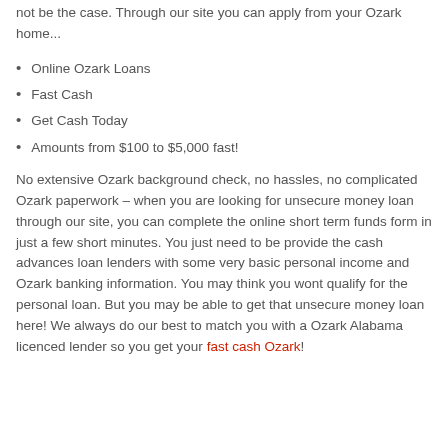unsecure loan if you are experiencing monetary issues, this should not be the case. Through our site you can apply from your Ozark home...
Online Ozark Loans
Fast Cash
Get Cash Today
Amounts from $100 to $5,000 fast!
No extensive Ozark background check, no hassles, no complicated Ozark paperwork – when you are looking for unsecure money loan through our site, you can complete the online short term funds form in just a few short minutes. You just need to be provide the cash advances loan lenders with some very basic personal income and Ozark banking information. You may think you wont qualify for the personal loan. But you may be able to get that unsecure money loan here! We always do our best to match you with a Ozark Alabama licenced lender so you get your fast cash Ozark!